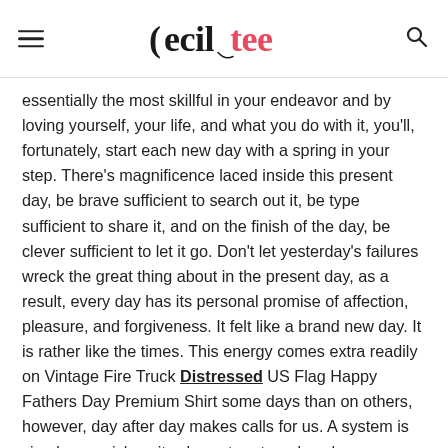ceciltee [logo]
essentially the most skillful in your endeavor and by loving yourself, your life, and what you do with it, you'll, fortunately, start each new day with a spring in your step. There's magnificence laced inside this present day, be brave sufficient to search out it, be type sufficient to share it, and on the finish of the day, be clever sufficient to let it go. Don't let yesterday's failures wreck the great thing about in the present day, as a result, every day has its personal promise of affection, pleasure, and forgiveness. It felt like a brand new day. It is rather like the times. This energy comes extra readily on Vintage Fire Truck Distressed US Flag Happy Fathers Day Premium Shirt some days than on others, however, day after day makes calls for us. A system is simply as quick as its slowest part, and each